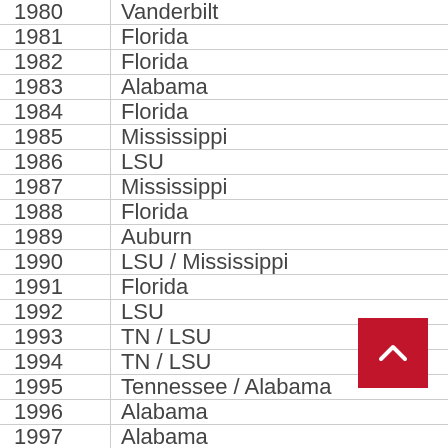| Year | Team |
| --- | --- |
| 1980 | Vanderbilt |
| 1981 | Florida |
| 1982 | Florida |
| 1983 | Alabama |
| 1984 | Florida |
| 1985 | Mississippi |
| 1986 | LSU |
| 1987 | Mississippi |
| 1988 | Florida |
| 1989 | Auburn |
| 1990 | LSU / Mississippi |
| 1991 | Florida |
| 1992 | LSU |
| 1993 | TN / LSU |
| 1994 | TN / LSU |
| 1995 | Tennessee / Alabama |
| 1996 | Alabama |
| 1997 | Alabama |
| 1998 | ... |